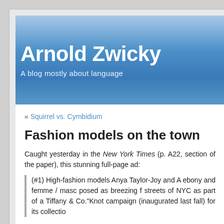Arnold Zwicky
A blog mostly about language
« Squirrel vs. Cymbidium
Fashion models on the town
Caught yesterday in the New York Times (p. A22, section of the paper), this stunning full-page ad:
(#1) High-fashion models Anya Taylor-Joy and A ebony and femme / masc posed as breezing f streets of NYC as part of a Tiffany & Co."Knot campaign (inaugurated last fall) for its collectio